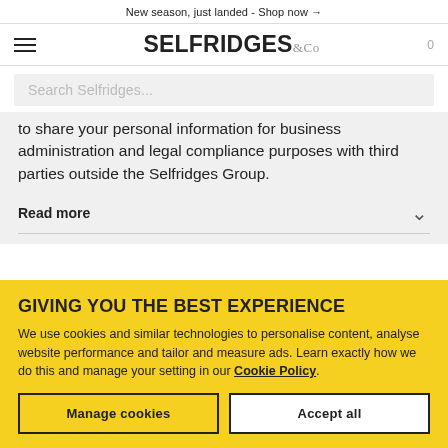New season, just landed - Shop now →
[Figure (logo): Selfridges & Co logo with hamburger menu and cart icon]
Search Selfridges...
to share your personal information for business administration and legal compliance purposes with third parties outside the Selfridges Group.
Read more
GIVING YOU THE BEST EXPERIENCE
We use cookies and similar technologies to personalise content, analyse website performance and tailor and measure ads. Learn exactly how we do this and manage your setting in our Cookie Policy.
Manage cookies
Accept all